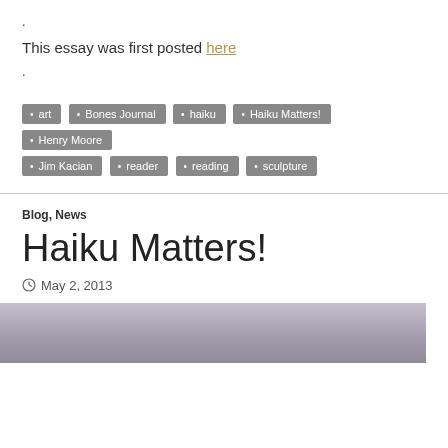.
This essay was first posted here
.
art
Bones Journal
haiku
Haiku Matters!
Henry Moore
Jim Kacian
reader
reading
sculpture
Blog, News
Haiku Matters!
May 2, 2013
[Figure (photo): A muted purple/grey photograph strip at the bottom of the page]